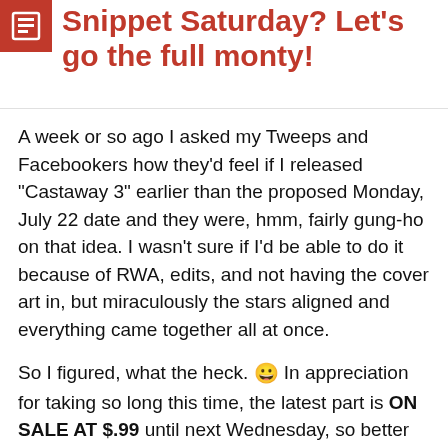Snippet Saturday? Let's go the full monty!
A week or so ago I asked my Tweeps and Facebookers how they'd feel if I released "Castaway 3" earlier than the proposed Monday, July 22 date and they were, hmm, fairly gung-ho on that idea. I wasn't sure if I'd be able to do it because of RWA, edits, and not having the cover art in, but miraculously the stars aligned and everything came together all at once.
So I figured, what the heck. 😀 In appreciation for taking so long this time, the latest part is ON SALE AT $.99 until next Wednesday, so better hurry! All I ask is that you pretty-please remember to review: let me know what you think!! This is the penultimate chapter of...